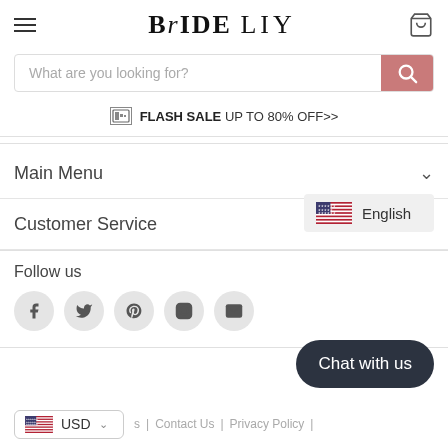BRIDE LILY
What are you looking for?
FLASH SALE UP TO 80% OFF>>
Main Menu
English
Customer Service
Follow us
Chat with us
USD
Contact Us | Privacy Policy |